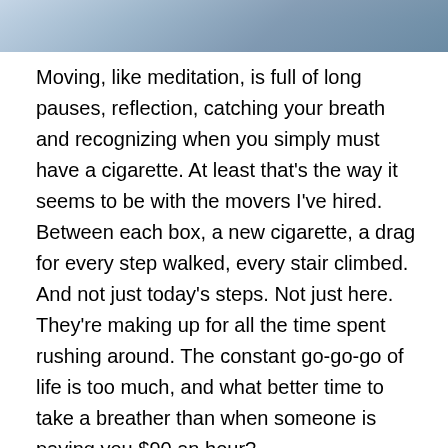[Figure (photo): Partial photograph at top of page, appears to show a person or building with striped/textured background, cropped to a horizontal strip.]
Moving, like meditation, is full of long pauses, reflection, catching your breath and recognizing when you simply must have a cigarette. At least that's the way it seems to be with the movers I've hired. Between each box, a new cigarette, a drag for every step walked, every stair climbed. And not just today's steps. Not just here. They're making up for all the time spent rushing around. The constant go-go-go of life is too much, and what better time to take a breather than when someone is paying you $90 an hour?
I see their point. I understand their technique. I too know the hourly wage and that there's no prize for sprinting. Efficiency is an abstraction to be contemplated while on the clock but never practiced.